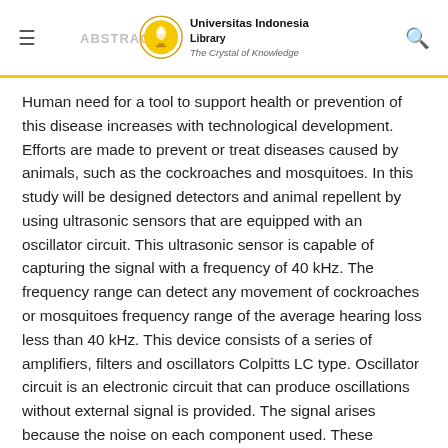ABSTRACT | Universitas Indonesia Library — The Crystal of Knowledge
Human need for a tool to support health or prevention of this disease increases with technological development. Efforts are made to prevent or treat diseases caused by animals, such as the cockroaches and mosquitoes. In this study will be designed detectors and animal repellent by using ultrasonic sensors that are equipped with an oscillator circuit. This ultrasonic sensor is capable of capturing the signal with a frequency of 40 kHz. The frequency range can detect any movement of cockroaches or mosquitoes frequency range of the average hearing loss less than 40 kHz. This device consists of a series of amplifiers, filters and oscillators Colpitts LC type. Oscillator circuit is an electronic circuit that can produce oscillations without external signal is provided. The signal arises because the noise on each component used. These oscillations arise because the series resonator that resonates and causes a signal amplifier that amplifies the signal so it is not...